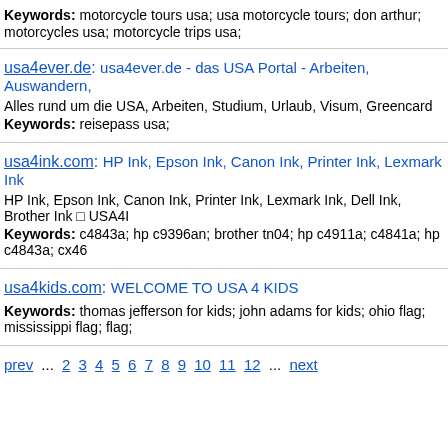Keywords: motorcycle tours usa; usa motorcycle tours; don arthur; motorcycles usa; motorcycle trips usa;
usa4ever.de: usa4ever.de - das USA Portal - Arbeiten, Auswandern,
Alles rund um die USA, Arbeiten, Studium, Urlaub, Visum, Greencard
Keywords: reisepass usa;
usa4ink.com: HP Ink, Epson Ink, Canon Ink, Printer Ink, Lexmark Ink
HP Ink, Epson Ink, Canon Ink, Printer Ink, Lexmark Ink, Dell Ink, Brother Ink □ USA4I
Keywords: c4843a; hp c9396an; brother tn04; hp c4911a; c4841a; hp c4843a; cx46
usa4kids.com: WELCOME TO USA 4 KIDS
Keywords: thomas jefferson for kids; john adams for kids; ohio flag; mississippi flag; flag;
prev ... 2 3 4 5 6 7 8 9 10 11 12 ... next